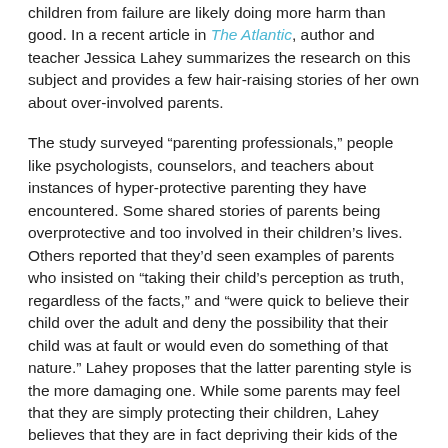children from failure are likely doing more harm than good. In a recent article in The Atlantic, author and teacher Jessica Lahey summarizes the research on this subject and provides a few hair-raising stories of her own about over-involved parents.
The study surveyed “parenting professionals,” people like psychologists, counselors, and teachers about instances of hyper-protective parenting they have encountered. Some shared stories of parents being overprotective and too involved in their children’s lives. Others reported that they’d seen examples of parents who insisted on “taking their child’s perception as truth, regardless of the facts,” and “were quick to believe their child over the adult and deny the possibility that their child was at fault or would even do something of that nature.” Lahey proposes that the latter parenting style is the more damaging one. While some parents may feel that they are simply protecting their children, Lahey believes that they are in fact depriving their kids of the opportunity to solve their own problems and learn independence. Also part of this group are parents who bail their kids out of situations that might teach them